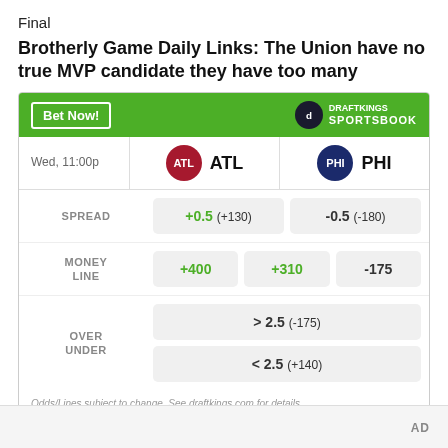Final
Brotherly Game Daily Links: The Union have no true MVP candidate they have too many
[Figure (infographic): DraftKings Sportsbook betting widget showing odds for ATL vs PHI match on Wed, 11:00p. Spread: ATL +0.5 (+130), PHI -0.5 (-180). Money Line: +400, +310, -175. Over/Under: > 2.5 (-175) and < 2.5 (+140). Footer: Odds/Lines subject to change. See draftkings.com for details.]